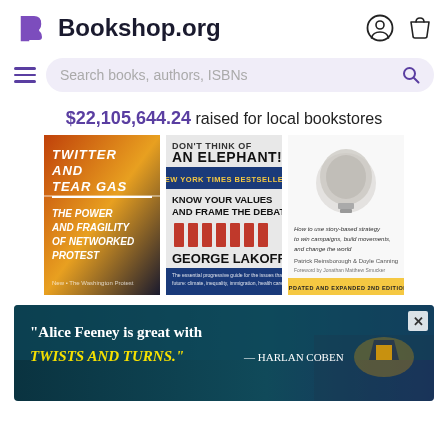Bookshop.org
Search books, authors, ISBNs
$22,105,644.24 raised for local bookstores
[Figure (photo): Three book covers: 'Twitter and Tear Gas: The Power and Fragility of Networked Protest', 'Don't Think of an Elephant! Know Your Values and Frame the Debate by George Lakoff', and a third book about story-based strategy by Patrick Reinsborough & Doyle Canning]
[Figure (photo): Advertisement banner with quote: 'Alice Feeney is great with TWISTS AND TURNS.' — HARLAN COBEN, showing a dark scenic background with a lit house]